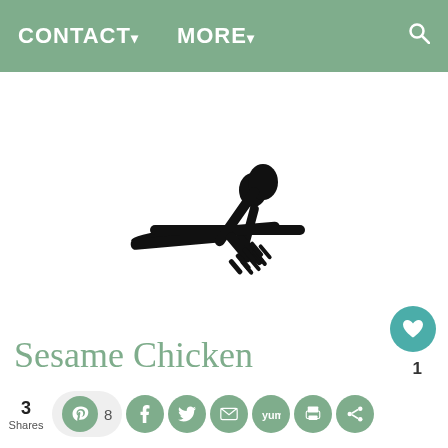CONTACT▾   MORE▾
[Figure (logo): Crossed fork, spoon, and knife utensils silhouette icon in black]
Sesame Chicken
3 Shares
Pinterest: 8, Facebook, Twitter, Email, Yum, Print, Share social buttons